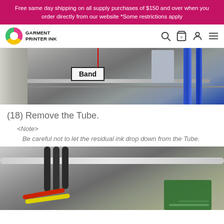Free same day shipping on all supply purchases of $150 and over when you order directly from our website *Some restrictions apply
[Figure (photo): Close-up photo of printer machinery with a labeled callout box reading 'Band' pointing to a band component, and a red indicator line.]
(18) Remove the Tube.
<Note>
Be careful not to let the residual ink drop down from the Tube.
[Figure (photo): Close-up photo of printer tubing and circuit board components with yellow, red, and dark tubes visible.]